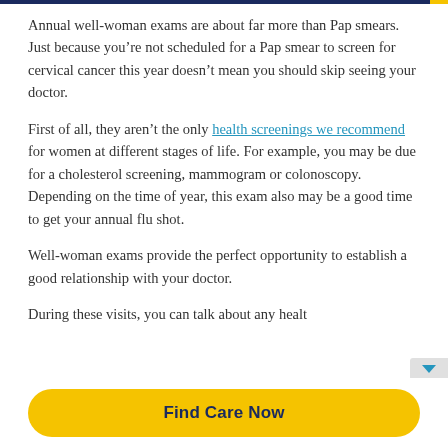Annual well-woman exams are about far more than Pap smears. Just because you’re not scheduled for a Pap smear to screen for cervical cancer this year doesn’t mean you should skip seeing your doctor.
First of all, they aren’t the only health screenings we recommend for women at different stages of life. For example, you may be due for a cholesterol screening, mammogram or colonoscopy. Depending on the time of year, this exam also may be a good time to get your annual flu shot.
Well-woman exams provide the perfect opportunity to establish a good relationship with your doctor.
During these visits, you can talk about any healt…
Find Care Now